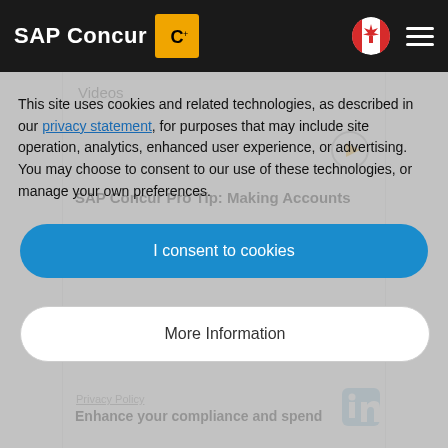SAP Concur
Videos
SAP Concur Pro Tip: Making Accounts Payable Profitable
This site uses cookies and related technologies, as described in our privacy statement, for purposes that may include site operation, analytics, enhanced user experience, or advertising. You may choose to consent to our use of these technologies, or manage your own preferences.
I consent to cookies
More Information
Privacy Policy
Enhance your compliance and spend